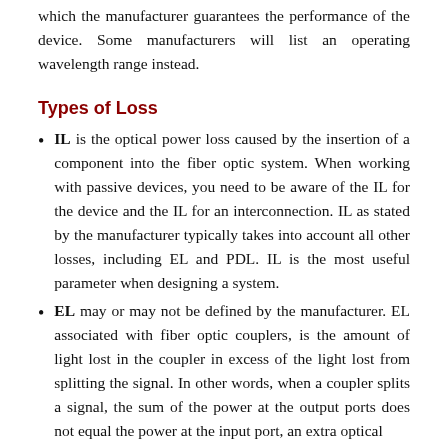which the manufacturer guarantees the performance of the device. Some manufacturers will list an operating wavelength range instead.
Types of Loss
IL is the optical power loss caused by the insertion of a component into the fiber optic system. When working with passive devices, you need to be aware of the IL for the device and the IL for an interconnection. IL as stated by the manufacturer typically takes into account all other losses, including EL and PDL. IL is the most useful parameter when designing a system.
EL may or may not be defined by the manufacturer. EL associated with fiber optic couplers, is the amount of light lost in the coupler in excess of the light lost from splitting the signal. In other words, when a coupler splits a signal, the sum of the power at the output ports does not equal the power at the input port, an extra optical